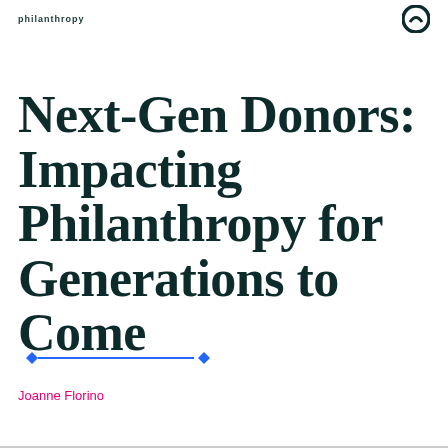philanthropy
Next-Gen Donors: Impacting Philanthropy for Generations to Come
[Figure (illustration): A horizontal blue line with blue diamond endpoints, serving as a decorative divider]
Joanne Florino